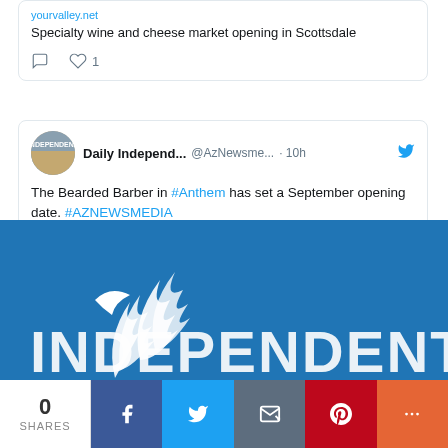yourvalley.net
Specialty wine and cheese market opening in Scottsdale
[Figure (screenshot): Tweet from Daily Independent (@AzNewsmedia) 10h ago: The Bearded Barber in #Anthem has set a September opening date. #AZNEWSMEDIA yourvalley.net/anthem-indepen...]
[Figure (logo): Independent newspaper logo - white bird and INDEPENDENT text on blue background]
0 SHARES